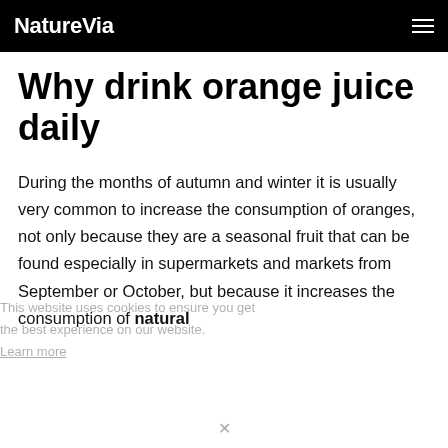NatureVia
Why drink orange juice daily
During the months of autumn and winter it is usually very common to increase the consumption of oranges, not only because they are a seasonal fruit that can be found especially in supermarkets and markets from September or October, but because it increases the consumption of natural